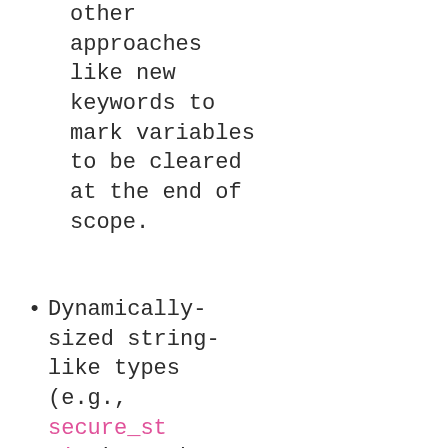other approaches like new keywords to mark variables to be cleared at the end of scope.
Dynamically-sized string-like types (e.g., secure_string) may be considered